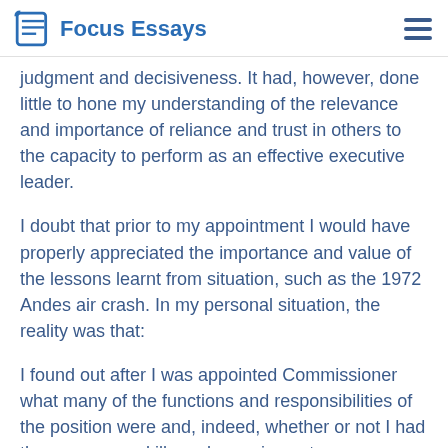Focus Essays
judgment and decisiveness. It had, however, done little to hone my understanding of the relevance and importance of reliance and trust in others to the capacity to perform as an effective executive leader.
I doubt that prior to my appointment I would have properly appreciated the importance and value of the lessons learnt from situation, such as the 1972 Andes air crash. In my personal situation, the reality was that:
I found out after I was appointed Commissioner what many of the functions and responsibilities of the position were and, indeed, whether or not I had the necessary skills and experience to